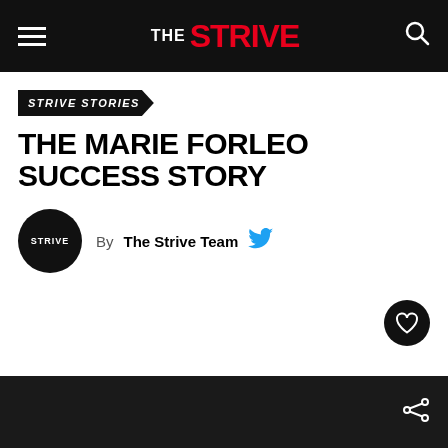THE STRIVE
STRIVE STORIES
THE MARIE FORLEO SUCCESS STORY
By The Strive Team